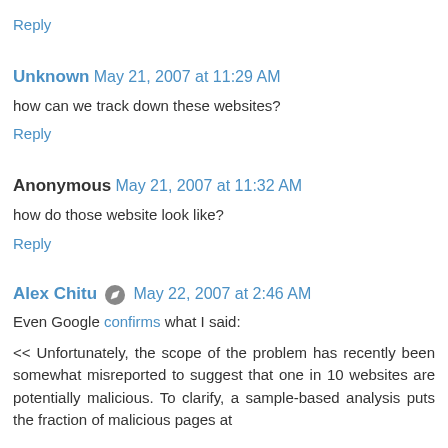Reply
Unknown  May 21, 2007 at 11:29 AM
how can we track down these websites?
Reply
Anonymous  May 21, 2007 at 11:32 AM
how do those website look like?
Reply
Alex Chitu  May 22, 2007 at 2:46 AM
Even Google confirms what I said:
<< Unfortunately, the scope of the problem has recently been somewhat misreported to suggest that one in 10 websites are potentially malicious. To clarify, a sample-based analysis puts the fraction of malicious pages at